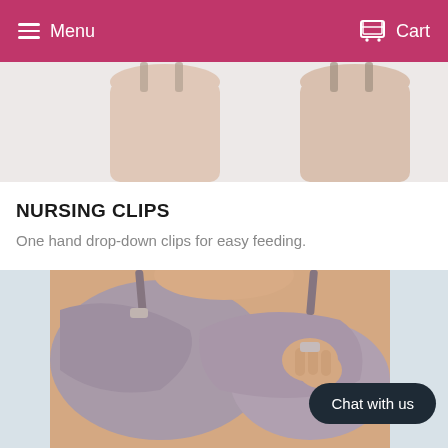Menu   Cart
[Figure (photo): Top cropped strip showing two women's torsos/shoulders wearing nursing bras, light background]
NURSING CLIPS
One hand drop-down clips for easy feeding.
[Figure (photo): Woman wearing grey nursing bra, pulling down the nursing clip on the left side with her right hand fingers, light blue-grey background. A 'Chat with us' button overlaid in the bottom-right corner.]